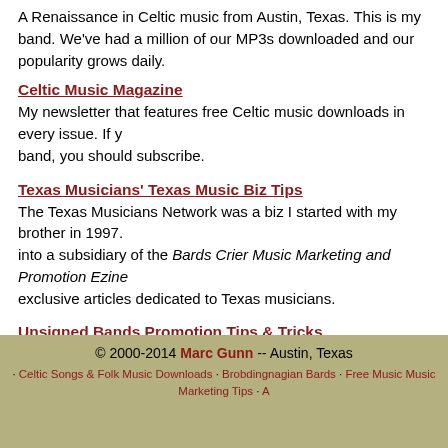A Renaissance in Celtic music from Austin, Texas. This is my band. We've had a million of our MP3s downloaded and our popularity grows daily.
Celtic Music Magazine
My newsletter that features free Celtic music downloads in every issue. If you like my band, you should subscribe.
Texas Musicians' Texas Music Biz Tips
The Texas Musicians Network was a biz I started with my brother in 1997. It morphed into a subsidiary of the Bards Crier Music Marketing and Promotion Ezine with exclusive articles dedicated to Texas musicians.
Unsigned Bands Promotion Tips & Tricks
A short website getting straight to the point. Music marketing and promotion tips essential for your music career.
Contact Marc Gunn
Link to the Bards Crier
If you find the free information on this website useful, please then take a moment using one of my linking methods.
© 2000-2014 Marc Gunn -- Austin, Texas
· Celtic Songs & Folk Music Downloads · Brobdingnagian Bards · Free Music Music Marketing Tips · A...